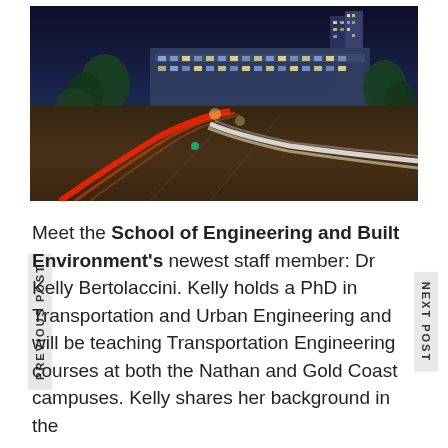[Figure (photo): Night aerial photo of an urban intersection with light trails from traffic, modern university/office buildings with illuminated windows in the background, trees on the sides, blue dusk sky.]
Meet the School of Engineering and Built Environment's newest staff member: Dr Kelly Bertolaccini. Kelly holds a PhD in Transportation and Urban Engineering and will be teaching Transportation Engineering courses at both the Nathan and Gold Coast campuses. Kelly shares her background in the
PREVIOUS POST
NEXT POST